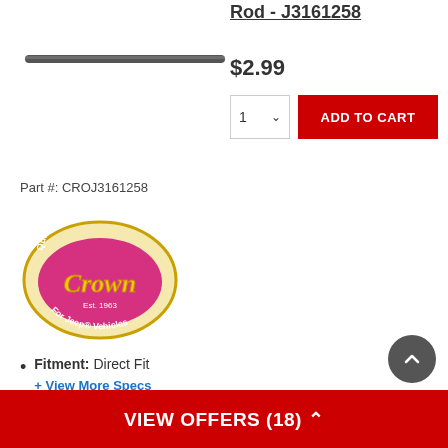Rod - J3161258
$2.99
[Figure (photo): A long thin metal rod product image on white background]
Part #: CROJ3161258
[Figure (logo): Crown Automotive Quality Replacement Parts For Jeep Vehicles oval logo, pink and yellow]
Fitment: Direct Fit
+ View More Specs
VIEW OFFERS (18)